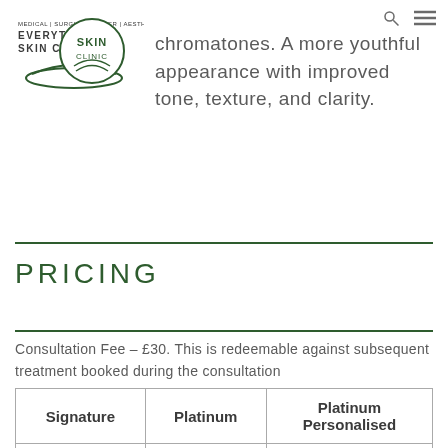[Figure (logo): Everything Skin Clinic logo — circular badge with 'SKIN CLINIC' text and stylized leaf/swoosh, overlaid on 'EVERYTHING SKIN CLINIC' text with medical specialities listed]
chromatones. A more youthful appearance with improved tone, texture, and clarity.
PRICING
Consultation Fee – £30. This is redeemable against subsequent treatment booked during the consultation
| Signature | Platinum | Platinum Personalised |
| --- | --- | --- |
| £100 | £130 | £170 |